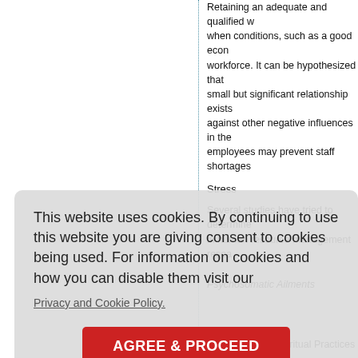Retaining an adequate and qualified workforce when conditions, such as a good economy, allow employees to easily leave. It can be hypothesized that a small but significant relationship exists against other negative influences in the workplace. High satisfaction of employees may prevent staff shortages.
Stress
Several studies have tried to determine the role of stress in human resource management research.
Psychosomatic Ailments
...psychosomatic disorders... Adhi Vyadhi in the Ayurvedic tradition.
Software Professionals In India
Indian software professionals are exposed to transformations in their lifestyle due to Indian culture and values.
Yoga And Other Spiritual Practices
This website uses cookies. By continuing to use this website you are giving consent to cookies being used. For information on cookies and how you can disable them visit our
Privacy and Cookie Policy.
AGREE & PROCEED